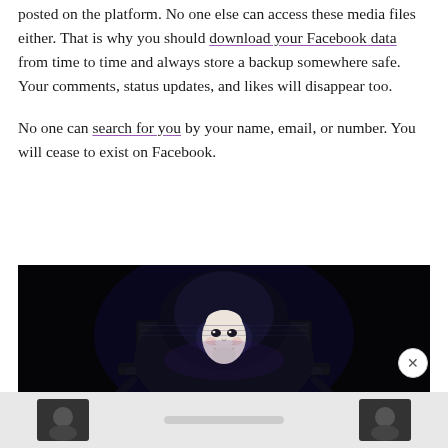posted on the platform. No one else can access these media files either. That is why you should download your Facebook data from time to time and always store a backup somewhere safe. Your comments, status updates, and likes will disappear too.

No one can search for you by your name, email, or number. You will cease to exist on Facebook.
[Figure (photo): Dark photo of a person wearing a Guy Fawkes mask and a hoodie, sitting behind an open laptop in a dark environment, evoking hacker/anonymous imagery.]